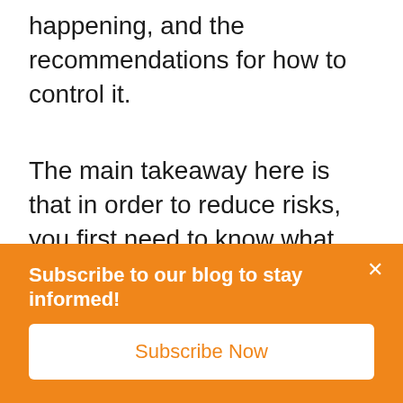happening, and the recommendations for how to control it.
The main takeaway here is that in order to reduce risks, you first need to know what those risks are, and the way to do that is through a thorough assessment. The good news is that a lot has changed in cybersecurity from a budget perspective, and it's now more feasible for SMBs to hire managed security services to help with IT risk assessments.
Subscribe to our blog to stay informed!
Subscribe Now